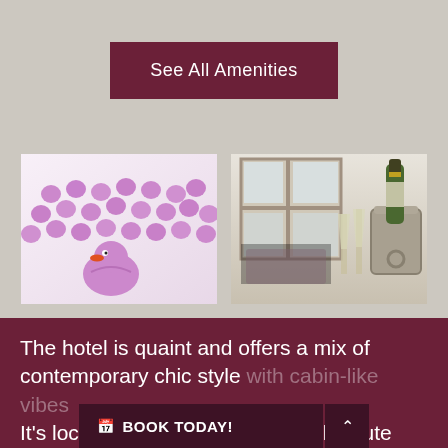See All Amenities
[Figure (photo): Many purple rubber ducks in a bathtub, with one prominently in front]
[Figure (photo): Champagne bottle in ice bucket with two champagne flutes on a windowsill]
The hotel is quaint and offers a mix of contemporary chic style with cabin-like vibes It's located right in the center of the cute town
BOOK TODAY!